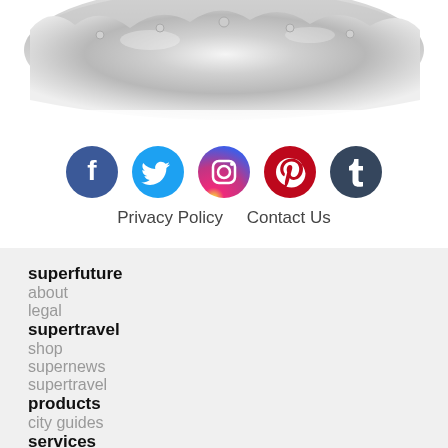[Figure (photo): Close-up photo of a silver metallic ring or jewelry piece, partially cropped at top]
[Figure (infographic): Row of five social media icons: Facebook (dark blue), Twitter (light blue), Instagram (pink/red gradient), Pinterest (dark red), Tumblr (dark blue)]
Privacy Policy    Contact Us
superfuture
about
legal
supertravel
shop
supernews
supertravel
products
city guides
services
concierge tours